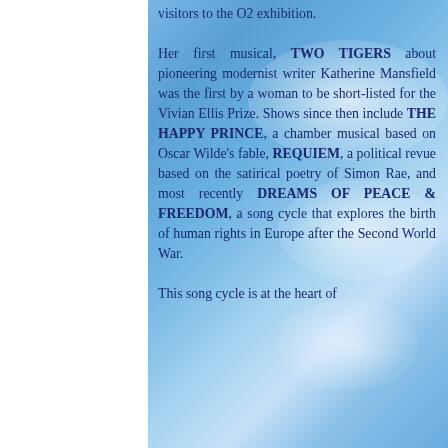visitors to the O2 exhibition.
Her first musical, TWO TIGERS about pioneering modernist writer Katherine Mansfield was the first by a woman to be short-listed for the Vivian Ellis Prize. Shows since then include THE HAPPY PRINCE, a chamber musical based on Oscar Wilde's fable, REQUIEM, a political revue based on the satirical poetry of Simon Rae, and most recently DREAMS OF PEACE & FREEDOM, a song cycle that explores the birth of human rights in Europe after the Second World War.
This song cycle is at the heart of